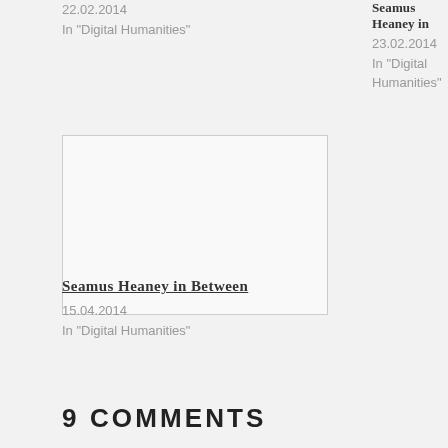22.02.2014
In "Digital Humanities"
Seamus Heaney in
23.02.2014
In "Digital Humanities"
[Figure (other): Blank image placeholder with border]
Seamus Heaney in Between
15.04.2014
In "Digital Humanities"
9 COMMENTS